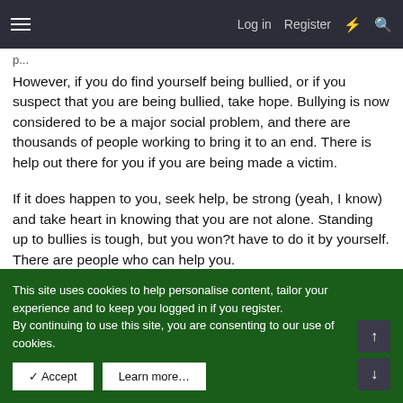Log in  Register
However, if you do find yourself being bullied, or if you suspect that you are being bullied, take hope. Bullying is now considered to be a major social problem, and there are thousands of people working to bring it to an end. There is help out there for you if you are being made a victim.
If it does happen to you, seek help, be strong (yeah, I know) and take heart in knowing that you are not alone. Standing up to bullies is tough, but you won?t have to do it by yourself. There are people who can help you.
There is no need to live in fear of bullies. If it is happening to
This site uses cookies to help personalise content, tailor your experience and to keep you logged in if you register.
By continuing to use this site, you are consenting to our use of cookies.